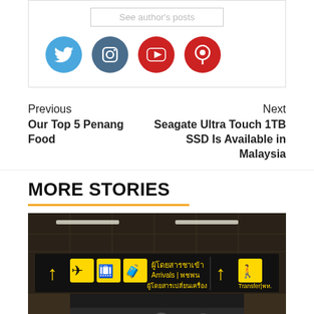See author's posts
[Figure (illustration): Four social media icon circles: Twitter (blue), Instagram (dark blue-gray), YouTube (red), Pinterest/location (red)]
Previous
Our Top 5 Penang Food
Next
Seagate Ultra Touch 1TB SSD Is Available in Malaysia
MORE STORIES
[Figure (photo): Airport terminal interior showing a black directional signage board with yellow text and icons indicating Arrivals and Transfer directions in Thai and English]